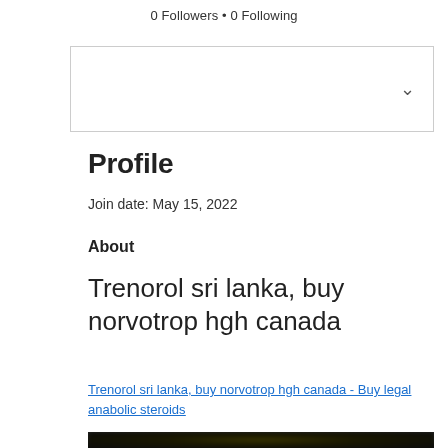0 Followers • 0 Following
[Figure (screenshot): Dropdown/input box with a chevron down arrow on the right side]
Profile
Join date: May 15, 2022
About
Trenorol sri lanka, buy norvotrop hgh canada
Trenorol sri lanka, buy norvotrop hgh canada - Buy legal anabolic steroids
[Figure (photo): Blurred dark product image]